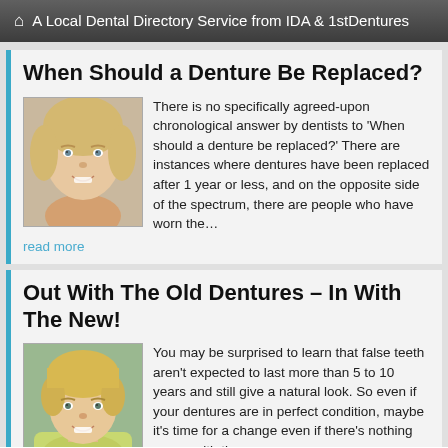A Local Dental Directory Service from IDA & 1stDentures
When Should a Denture Be Replaced?
[Figure (photo): Portrait photo of an older woman smiling, with blonde hair]
There is no specifically agreed-upon chronological answer by dentists to 'When should a denture be replaced?' There are instances where dentures have been replaced after 1 year or less, and on the opposite side of the spectrum, there are people who have worn the… read more
Out With The Old Dentures - In With The New!
[Figure (photo): Portrait photo of a middle-aged woman with short blonde hair, smiling]
You may be surprised to learn that false teeth aren't expected to last more than 5 to 10 years and still give a natural look. So even if your dentures are in perfect condition, maybe it's time for a change even if there's nothing wrong with the… read more